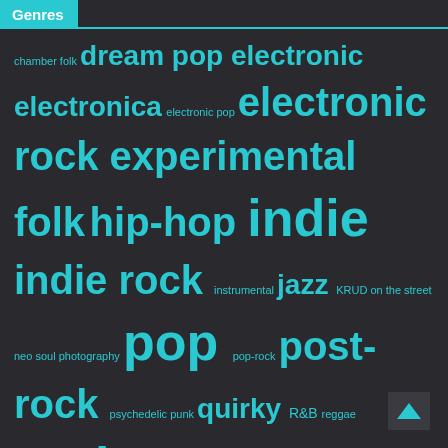Genres
chamber folk dream pop electronic electronica electronic pop electronic rock experimental folk hip-hop indie indie rock instrumental jazz KRUD on the street neo soul photography pop pop-rock post-rock psychedelic punk quirky R&B reggae rock self-titled shoegaze site soundtrack space rock synth pop trans-urban world
Recent Posts
A Taste of Icelandic Post-Rock
Love Will Find a Way
The Continuing Adventures of Chamber Folk
Upbeat, Rebellious World Music